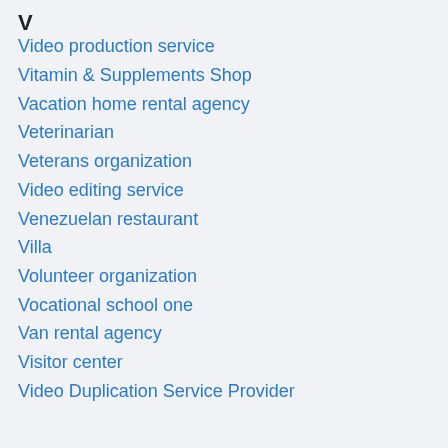V
Video production service
Vitamin & Supplements Shop
Vacation home rental agency
Veterinarian
Veterans organization
Video editing service
Venezuelan restaurant
Villa
Volunteer organization
Vocational school one
Van rental agency
Visitor center
Video Duplication Service Provider